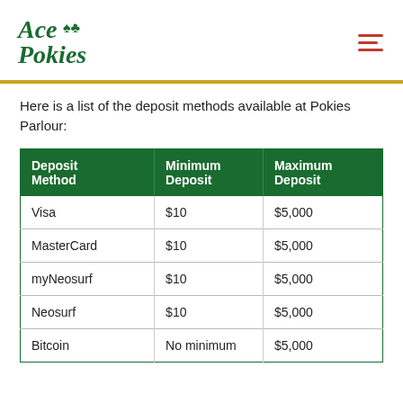[Figure (logo): Ace Pokies logo in dark green italic serif font with card suits]
Here is a list of the deposit methods available at Pokies Parlour:
| Deposit Method | Minimum Deposit | Maximum Deposit |
| --- | --- | --- |
| Visa | $10 | $5,000 |
| MasterCard | $10 | $5,000 |
| myNeosurf | $10 | $5,000 |
| Neosurf | $10 | $5,000 |
| Bitcoin | No minimum | $5,000 |